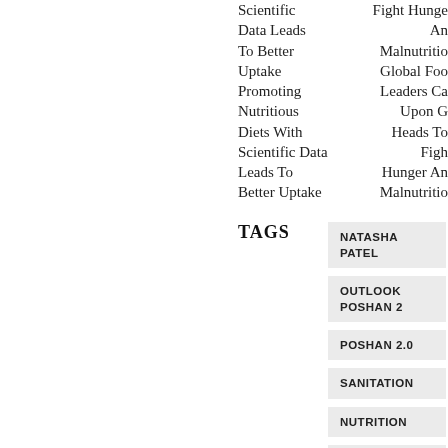Scientific Data Leads To Better Uptake Promoting Nutritious Diets With Scientific Data Leads To Better Uptake
Fight Hunger And Malnutrition Global Food Leaders Call Upon G Heads To Fight Hunger And Malnutrition
TAGS
NATASHA PATEL
OUTLOOK POSHAN 2
POSHAN 2.0
SANITATION
NUTRITION
WORLD